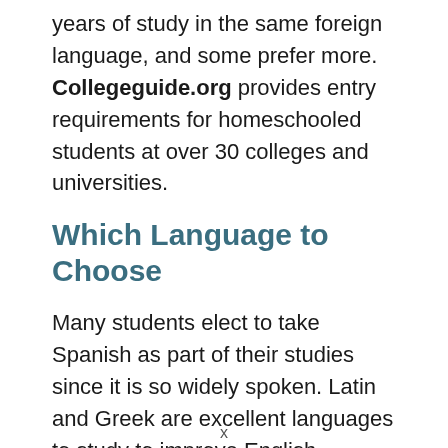years of study in the same foreign language, and some prefer more. Collegeguide.org provides entry requirements for homeschooled students at over 30 colleges and universities.
Which Language to Choose
Many students elect to take Spanish as part of their studies since it is so widely spoken. Latin and Greek are excellent languages to study to improve English vocabulary, grammar and help a student achieve higher SAT scores. Some families choose a
x